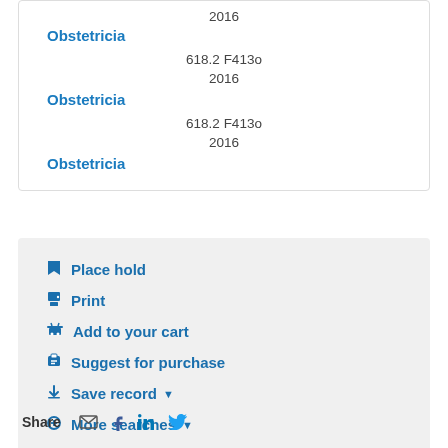618.2 F413o
2016
Obstetricia
618.2 F413o
2016
Obstetricia
618.2 F413o
2016
Obstetricia
Place hold
Print
Add to your cart
Suggest for purchase
Save record
More searches
Share